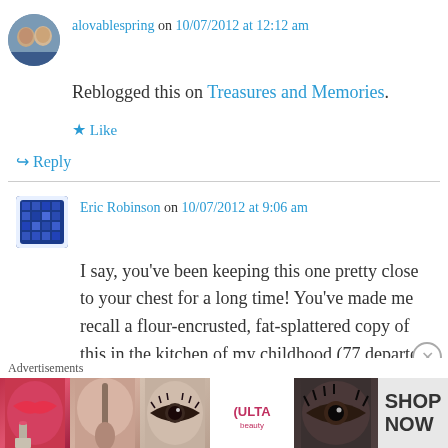alovablespring on 10/07/2012 at 12:12 am
Reblogged this on Treasures and Memories.
★ Like
↪ Reply
Eric Robinson on 10/07/2012 at 9:06 am
I say, you've been keeping this one pretty close to your chest for a long time! You've made me recall a flour-encrusted, fat-splattered copy of this in the kitchen of my childhood (77 departed years). Thanks, I shall use this with great
Advertisements
[Figure (photo): ULTA beauty advertisement banner with makeup images and SHOP NOW text]